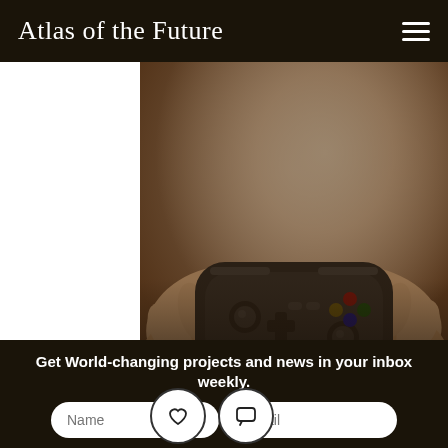Atlas of the Future
[Figure (photo): Close-up photo of hands holding a black video game controller/gamepad against a warm blurred background]
AbleGamers empowers people with disabilities to access video games and fight social isolation.  Hate lockdown? Spent the better part...
——→ See more
Get World-changing projects and news in your inbox weekly.